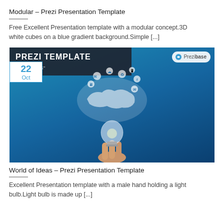Modular – Prezi Presentation Template
Free Excellent Presentation template with a modular concept.3D white cubes on a blue gradient background.Simple [...]
[Figure (photo): Prezi Template banner with date badge showing 22 Oct, dark overlay text 'PREZI TEMPLATE' and 'D OF IDEAS', Prezibase logo, and a hand holding a light bulb with world map and technology icons floating above it on a blue gradient background.]
World of Ideas – Prezi Presentation Template
Excellent Presentation template with a male hand holding a light bulb.Light bulb is made up [...]